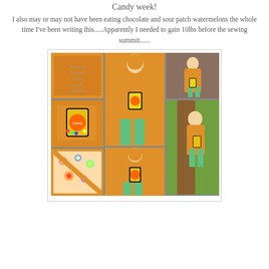Candy week!
I also may or may not have been eating chocolate and sour patch watermelons the whole time I've been writing this.....Apparently I needed to gain 10lbs before the sewing summit......
[Figure (photo): A collage of 7 photos showing a young blonde girl wearing an orange hoodie with a candy-themed applique design on the front, and teal/mint green leggings. Photos show various angles and close-up details of the hoodie including the fabric lining and the applique.]